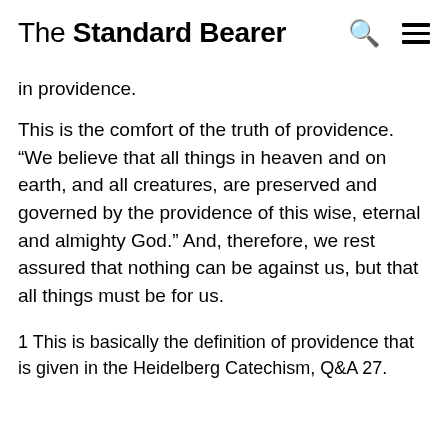The Standard Bearer
in providence.
This is the comfort of the truth of providence. “We believe that all things in heaven and on earth, and all creatures, are preserved and governed by the providence of this wise, eternal and almighty God.” And, therefore, we rest assured that nothing can be against us, but that all things must be for us.
1 This is basically the definition of providence that is given in the Heidelberg Catechism, Q&A 27.